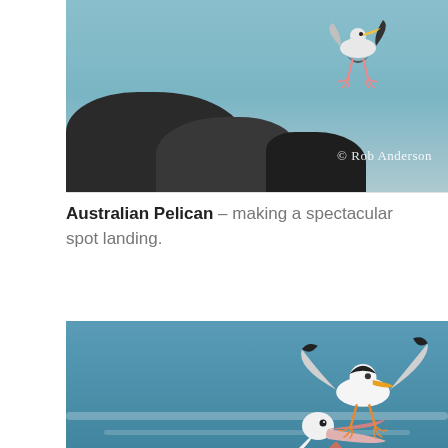[Figure (photo): Australian Pelican landing in flight near dark rocks with a blue-grey sky/sea background. Watermark reads '© Rob Anderson' in the lower right.]
Australian Pelican – making a spectacular spot landing.
[Figure (photo): A pelican with open bill near rocky shore, with a seagull in flight above it against a blue ocean background. A scroll-up button is visible in lower right. Watermark 'SMILE' at bottom.]